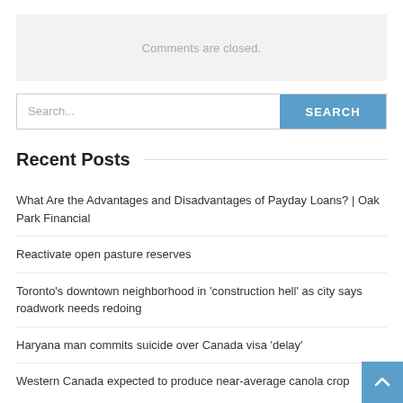Comments are closed.
Search...
Recent Posts
What Are the Advantages and Disadvantages of Payday Loans? | Oak Park Financial
Reactivate open pasture reserves
Toronto's downtown neighborhood in 'construction hell' as city says roadwork needs redoing
Haryana man commits suicide over Canada visa 'delay'
Western Canada expected to produce near-average canola crop